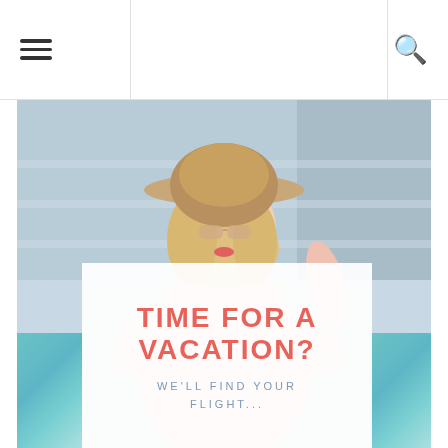[Figure (photo): A fashionable woman wearing a pink ruffled blouse and a wide-brimmed sun hat, standing in front of a modern building. Below the photo is an overlay card reading 'TIME FOR A VACATION? WE'LL FIND YOUR FLIGHT...']